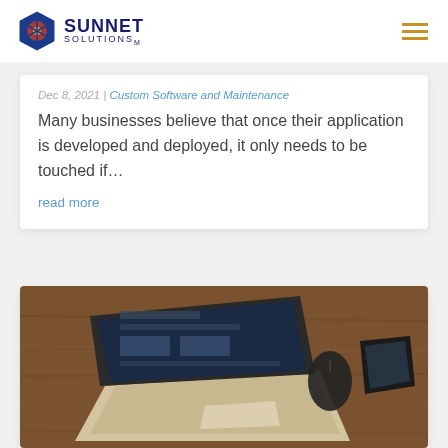SunNet Solutions
Dec 8, 2021 | Custom Software and Maintenance
Many businesses believe that once their application is developed and deployed, it only needs to be touched if…
read more
[Figure (photo): Laptop open on a wooden desk with a wireless mouse and smartphone in the background]